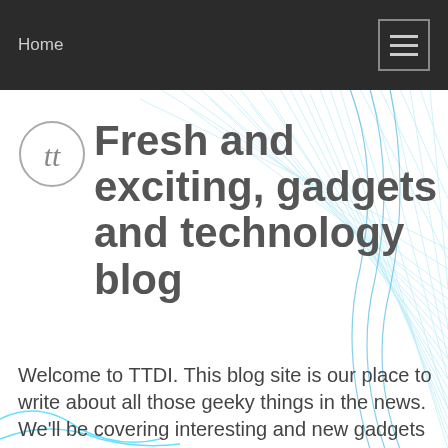Home
Fresh and exciting, gadgets and technology blog
Welcome to TTDI. This blog site is our place to write about all those geeky things in the news. We'll be covering interesting and new gadgets and gizmos, new software companies, computing concepts and technical